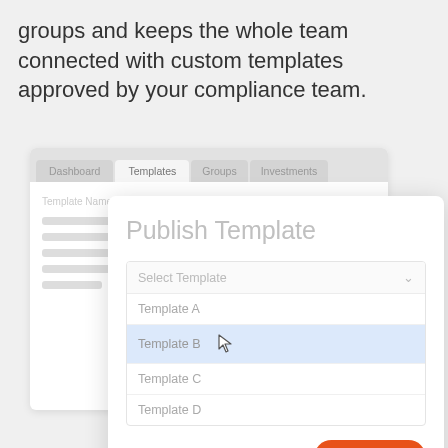groups and keeps the whole team connected with custom templates approved by your compliance team.
[Figure (screenshot): A software UI screenshot showing an application window with tabs (Dashboard, Templates, Groups, Investments) and a 'Publish Template' modal dialog with a dropdown list (Select Template, Template A, Template B highlighted, Template C, Template D) and an orange Publish button.]